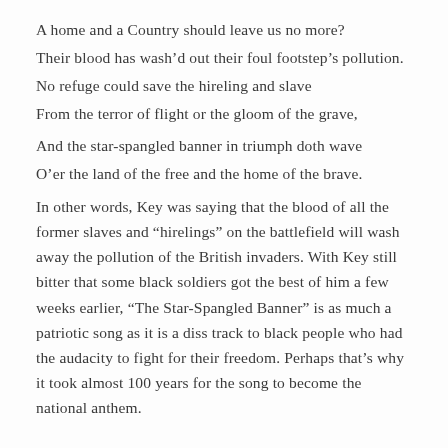A home and a Country should leave us no more?
Their blood has wash'd out their foul footstep's pollution.
No refuge could save the hireling and slave
From the terror of flight or the gloom of the grave,
And the star-spangled banner in triumph doth wave
O'er the land of the free and the home of the brave.
In other words, Key was saying that the blood of all the former slaves and “hirelings” on the battlefield will wash away the pollution of the British invaders. With Key still bitter that some black soldiers got the best of him a few weeks earlier, “The Star-Spangled Banner” is as much a patriotic song as it is a diss track to black people who had the audacity to fight for their freedom. Perhaps that’s why it took almost 100 years for the song to become the national anthem.
Talk about why they are doing this rather than them